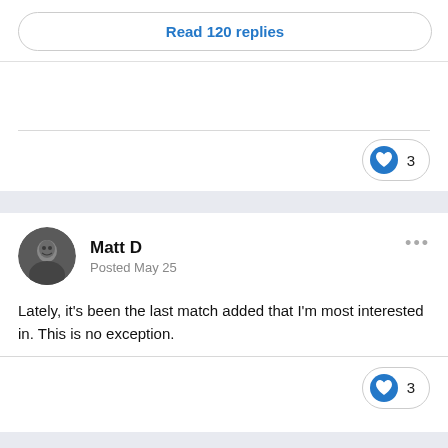Read 120 replies
[Figure (other): Heart/like button with count 3]
[Figure (other): User avatar for Matt D]
Matt D
Posted May 25
Lately, it's been the last match added that I'm most interested in. This is no exception.
[Figure (other): Heart/like button with count 3]